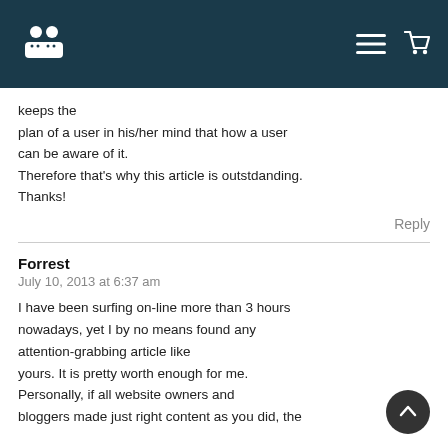Header navigation bar with logo and menu/cart icons
keeps the
plan of a user in his/her mind that how a user
can be aware of it.
Therefore that's why this article is outstdanding.
Thanks!
Reply
Forrest
July 10, 2013 at 6:37 am
I have been surfing on-line more than 3 hours nowadays, yet I by no means found any attention-grabbing article like yours. It is pretty worth enough for me. Personally, if all website owners and bloggers made just right content as you did, the